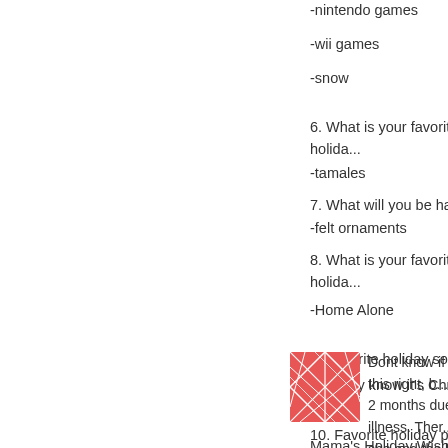-nintendo games
-wii games
-snow
6. What is your favorite holida...
-tamales
7. What will you be hand-craf...
-felt ornaments
8. What is your favorite holida...
-Home Alone
9. Favorite holiday song?
-Do they know it's Christmas
10. Favorite holiday pastime?
-relaxing and eating good foo...
Posted by: Patricia | Novemb...
[Figure (illustration): Red and white abstract/geometric square avatar image]
Dont know if I did this right, b... 2 months due to illness. Ther... she and the kids came to my ... love gentle advice!
Mama's Holiday Wish List Me...